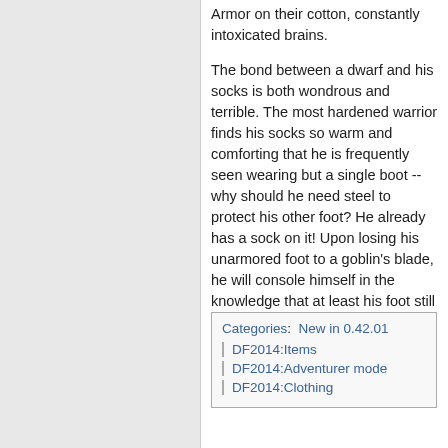Armor on their cotton, constantly intoxicated brains.
The bond between a dwarf and his socks is both wondrous and terrible. The most hardened warrior finds his socks so warm and comforting that he is frequently seen wearing but a single boot -- why should he need steel to protect his other foot? He already has a sock on it! Upon losing his unarmored foot to a goblin's blade, he will console himself in the knowledge that at least his foot still has its sock on.
Categories:  New in 0.42.01
| DF2014:Items
| DF2014:Adventurer mode
| DF2014:Clothing